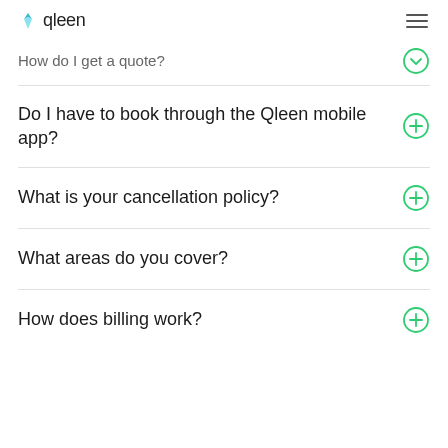qleen
How do I get a quote?
Do I have to book through the Qleen mobile app?
What is your cancellation policy?
What areas do you cover?
How does billing work?